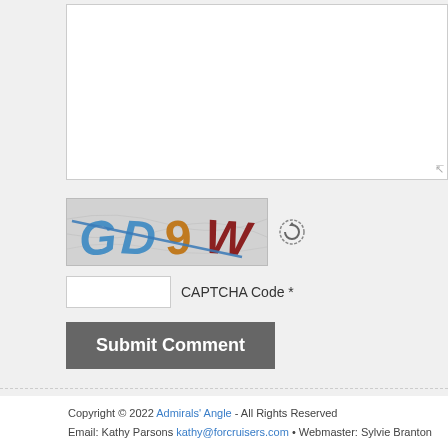[Figure (screenshot): Comment form textarea (white input box, partially visible at top of page)]
[Figure (screenshot): CAPTCHA image showing letters GD9W in blue, orange and dark red with diagonal strikethrough line, followed by a refresh icon]
CAPTCHA Code *
[Figure (screenshot): Submit Comment button (dark grey button with white bold text)]
Copyright © 2022 Admirals' Angle - All Rights Reserved
Email: Kathy Parsons kathy@forcruisers.com • Webmaster: Sylvie Branton sylvie@forcruise...
Powered by WordPress & the Atahualpa Theme by BytesForAll. Discuss on our WP Forum